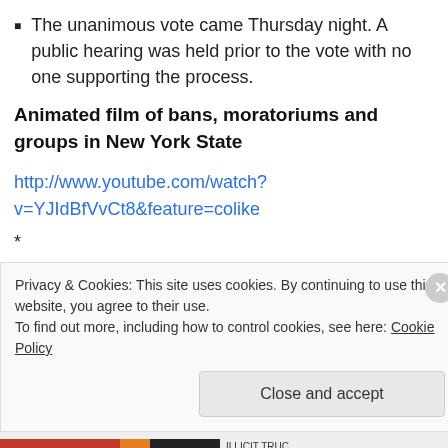The unanimous vote came Thursday night. A public hearing was held prior to the vote with no one supporting the process.
Animated film of bans, moratoriums and groups in New York State
http://www.youtube.com/watch?v=YJIdBfVvCt8&feature=colike
*
Two legislative bills on hydrofrack drilling were
Privacy & Cookies: This site uses cookies. By continuing to use this website, you agree to their use.
To find out more, including how to control cookies, see here: Cookie Policy
Close and accept